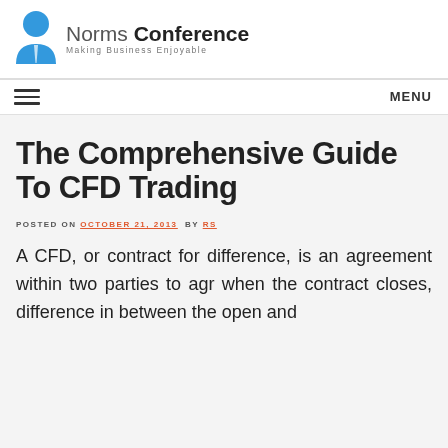Norms Conference — Making Business Enjoyable
The Comprehensive Guide To CFD Trading
POSTED ON OCTOBER 21, 2013 BY RS
A CFD, or contract for difference, is an agreement within two parties to agr when the contract closes, difference in between the open and